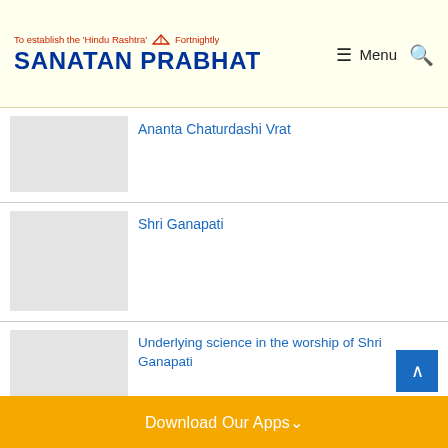To establish the 'Hindu Rashtra' Fortnightly SANATAN PRABHAT
Ananta Chaturdashi Vrat
Shri Ganapati
Underlying science in the worship of Shri Ganapati
Download Our Apps